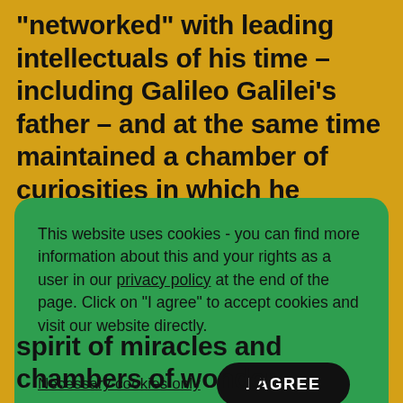“networked” with leading intellectuals of his time – including Galileo Galilei’s father – and at the same time maintained a chamber of curiosities in which he exhibited “globes of heaven and earth”, the “tail of a mermaid” and an organ that “...
This website uses cookies - you can find more information about this and your rights as a user in our privacy policy at the end of the page. Click on "I agree" to accept cookies and visit our website directly.
Necessary cookies only
I AGREE
spirit of miracles and chambers of wonder